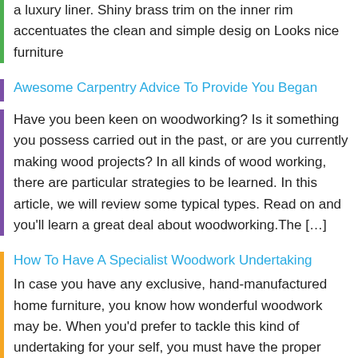a luxury liner. Shiny brass trim on the inner rim accentuates the clean and simple desig on Looks nice furniture
Awesome Carpentry Advice To Provide You Began
Have you been keen on woodworking? Is it something you possess carried out in the past, or are you currently making wood projects? In all kinds of wood working, there are particular strategies to be learned. In this article, we will review some typical types. Read on and you'll learn a great deal about woodworking.The […]
How To Have A Specialist Woodwork Undertaking
In case you have any exclusive, hand-manufactured home furniture, you know how wonderful woodwork may be. When you'd prefer to tackle this kind of undertaking for your self, you must have the proper